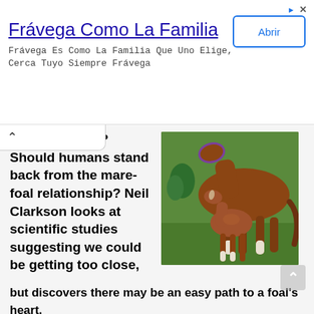[Figure (infographic): Advertisement banner for Frávega Como La Familia with title, description text, and 'Abrir' button]
Frávega Como La Familia
Frávega Es Como La Familia Que Uno Elige, Cerca Tuyo Siempre Frávega
printing" work? Should humans stand back from the mare-foal relationship? Neil Clarkson looks at scientific studies suggesting we could be getting too close, but discovers there may be an easy path to a foal's heart.
[Figure (photo): A mare and newborn foal standing together on green grass; foal is nursing or nuzzling the mare. Horse with purple halter visible.]
Foals are cute and so easy to love. Many horse owners simply can't resist giving them a cuddle. Others launch into "imprinting" – a technique involving rubbing a foal's body all over to get them used to human contact.